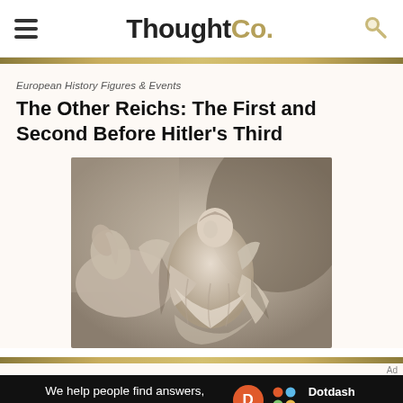ThoughtCo.
European History Figures & Events
The Other Reichs: The First and Second Before Hitler's Third
[Figure (photo): Stone sculpture / bas-relief depicting a classical or medieval figure on horseback, rendered in light beige/cream stone tones]
Ad
We help people find answers, solve problems and get inspired. Dotdash meredith